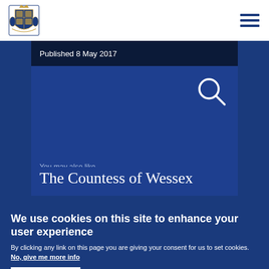[Figure (logo): UK Royal coat of arms logo in top left of white header bar]
[Figure (other): Hamburger/menu icon (three horizontal lines) in top right of white header bar]
Published 8 May 2017
[Figure (other): Blue search panel with magnifying glass search icon on the right]
You may also like...
The Countess of Wessex
We use cookies on this site to enhance your user experience
By clicking any link on this page you are giving your consent for us to set cookies. No, give me more info
OK, I agree